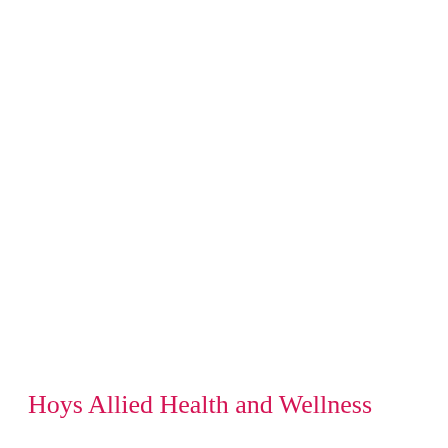Hoys Allied Health and Wellness